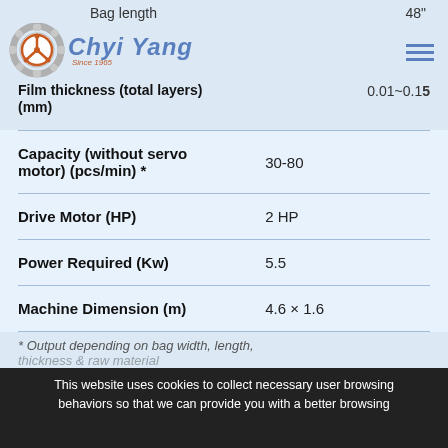Bag length   48"
[Figure (logo): Chyi Yang gear logo with brand name and Since 1965 text]
| Specification | Value |
| --- | --- |
| Film thickness (total layers) (mm) | 0.01~0.15 |
| Capacity (without servo motor) (pcs/min) * | 30-80 |
| Drive Motor (HP) | 2 HP |
| Power Required (Kw) | 5.5 |
| Machine Dimension (m) | 4.6 × 1.6 |
* Output depending on bag width, length, thickness & raw material
This website uses cookies to collect necessary user browsing behaviors so that we can provide you with a better browsing